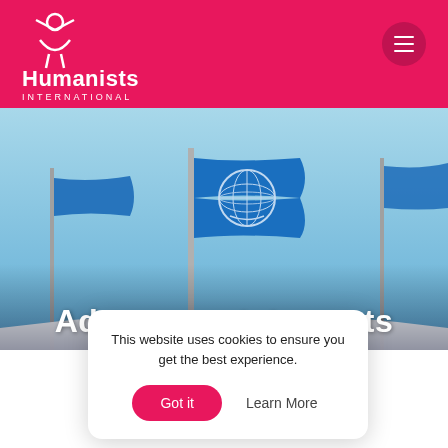Humanists International
[Figure (photo): UN flag with globe emblem against blue sky, used as hero image background]
Advocacy statements
This website uses cookies to ensure you get the best experience.
Got it  Learn More
SP
DATE / 2015